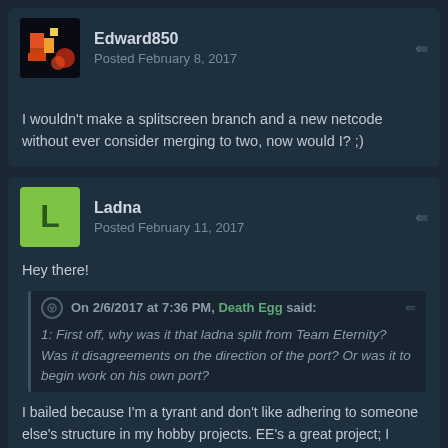Edward850 — Posted February 8, 2017
I wouldn't make a splitscreen branch and a new netcode without ever consider merging to two, now would I? ;)
Ladna — Posted February 11, 2017
Hey there!
On 2/6/2017 at 7:36 PM, Death Egg said: 1: First off, why was it that ladna split from Team Eternity? Was it disagreements on the direction of the port? Or was it to begin work on his own port?
I bailed because I'm a tyrant and don't like adhering to someone else's structure in my hobby projects. EE's a great project; I basically just wanted to hack away (recklessly) and realized I couldn't do that in an established port. The C -> C++ transition wasn't great, but it was OK.